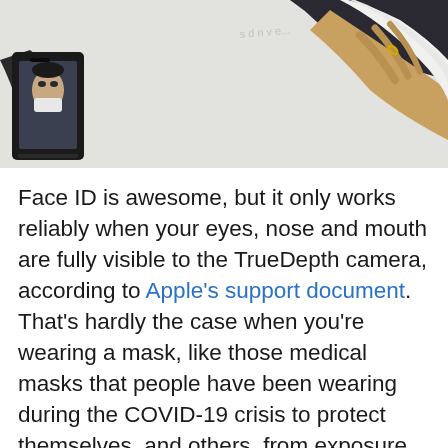[Figure (photo): A person holds an iPhone displaying a selfie camera view showing a masked face on screen, while a second hand holds a tissue or cloth near a whiteboard in the background.]
Face ID is awesome, but it only works reliably when your eyes, nose and mouth are fully visible to the TrueDepth camera, according to Apple's support document. That's hardly the case when you're wearing a mask, like those medical masks that people have been wearing during the COVID-19 crisis to protect themselves, and others, from exposure to the coronavirus. Instead of taking your mask off to unlock your
iPhone, or waiting until Face ID fails, save yourself both time and frustration by skipping